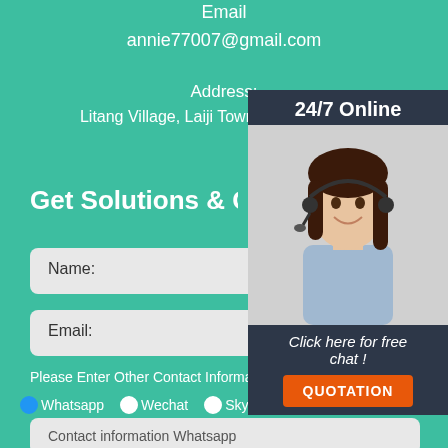Email
annie77007@gmail.com
Address:
Litang Village, Laiji Town, Xinmi City, C...
Get Solutions & Quotatio...
Name:
Email:
Please Enter Other Contact Information
Whatsapp  Wechat  Skype  Viber
Contact information Whatsapp
[Figure (photo): Customer service representative with headset, 24/7 Online chat support overlay panel with QUOTATION button]